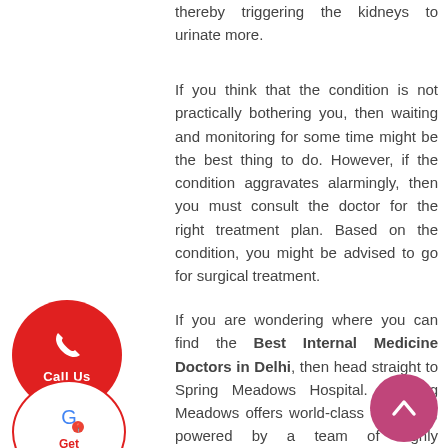thereby triggering the kidneys to urinate more.
If you think that the condition is not practically bothering you, then waiting and monitoring for some time might be the best thing to do. However, if the condition aggravates alarmingly, then you must consult the doctor for the right treatment plan. Based on the condition, you might be advised to go for surgical treatment.
If you are wondering where you can find the Best Internal Medicine Doctors in Delhi, then head straight to Spring Meadows Hospital. Spring Meadows offers world-class treatment, powered by a team of highly experienced medical
[Figure (infographic): Red circular Call Us button with phone icon]
[Figure (infographic): White circular Get Direction button with Google Maps icon and red border]
[Figure (infographic): Purple/pink circular scroll-to-top button with upward chevron arrow]